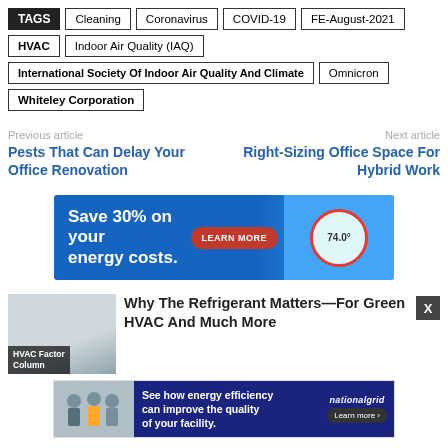TAGS  Cleaning  Coronavirus  COVID-19  FE-August-2021  HVAC  Indoor Air Quality (IAQ)  International Society Of Indoor Air Quality And Climate  Omnicron  Whiteley Corporation
Previous article
Pests That Can Delay Your Office Renovation
Next article
Right-Sizing Office Space For Hybrid Work
[Figure (infographic): Blue advertisement banner: 'Save 30% on your energy costs.' with a red 'LEARN MORE' button and a thermostat graphic on the right.]
Why The Refrigerant Matters—For Green HVAC And Much More
HVAC Factor Column
[Figure (infographic): National Grid ad: 'See how energy efficiency can improve the quality of your facility.' with a Learn more button.]